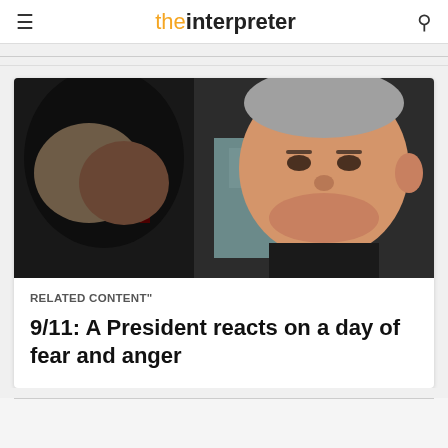the interpreter
[Figure (photo): A man whispering into the ear of another man (President George W. Bush), who looks solemn and serious. Black and white photo from 9/11.]
RELATED CONTENT"
9/11: A President reacts on a day of fear and anger